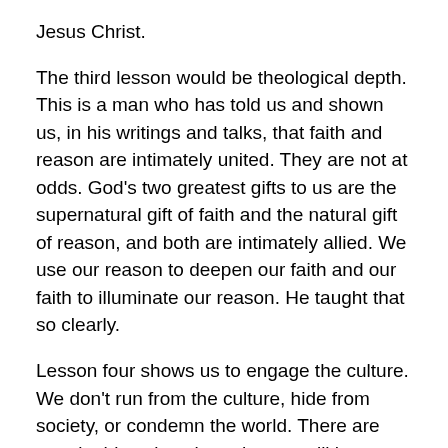Jesus Christ.
The third lesson would be theological depth. This is a man who has told us and shown us, in his writings and talks, that faith and reason are intimately united. They are not at odds. God's two greatest gifts to us are the supernatural gift of faith and the natural gift of reason, and both are intimately allied. We use our reason to deepen our faith and our faith to illuminate our reason. He taught that so clearly.
Lesson four shows us to engage the culture. We don't run from the culture, hide from society, or condemn the world. There are certain things in culture that we will have to speak starkly about. But we are called to engage, and that comes straight from the Second Vatican Council. The Church needs to be in dialogue with the world. Why?